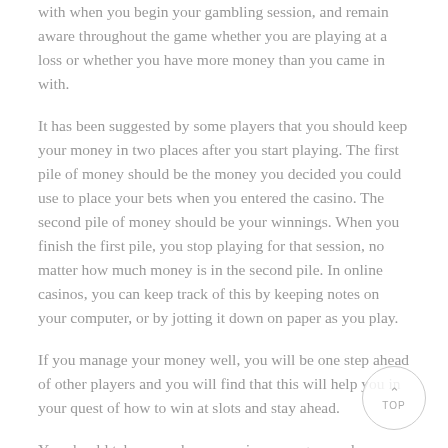with when you begin your gambling session, and remain aware throughout the game whether you are playing at a loss or whether you have more money than you came in with.
It has been suggested by some players that you should keep your money in two places after you start playing. The first pile of money should be the money you decided you could use to place your bets when you entered the casino. The second pile of money should be your winnings. When you finish the first pile, you stop playing for that session, no matter how much money is in the second pile. In online casinos, you can keep track of this by keeping notes on your computer, or by jotting it down on paper as you play.
If you manage your money well, you will be one step ahead of other players and you will find that this will help you in your quest of how to win at slots and stay ahead.
You should take your chances, enjoy your game, place the that will give you the best pay off, and then quit while you're ahead.